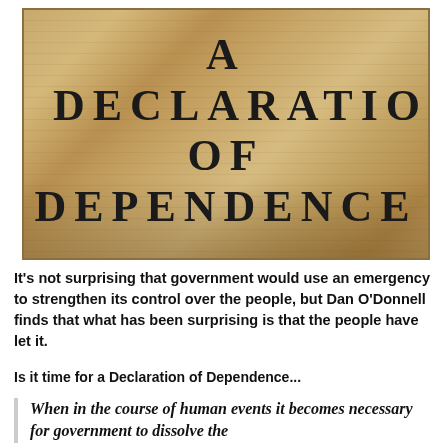[Figure (photo): Aged parchment document resembling the Declaration of Independence, with handwritten text visible in the background. Large bold serif text overlay reads 'A DECLARATION OF DEPENDENCE'.]
It's not surprising that government would use an emergency to strengthen its control over the people, but Dan O'Donnell finds that what has been surprising is that the people have let it.
Is it time for a Declaration of Dependence...
When in the course of human events it becomes necessary for government to dissolve the